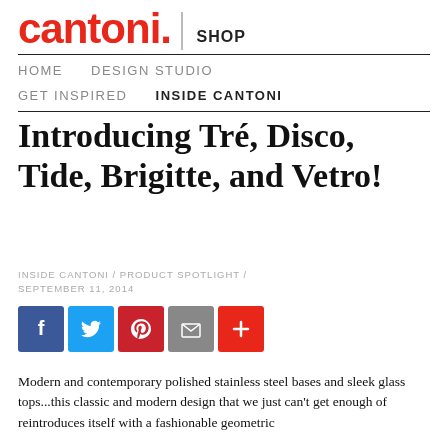cantoni. | SHOP
HOME   DESIGN STUDIO   GET INSPIRED   INSIDE CANTONI
Introducing Tré, Disco, Tide, Brigitte, and Vetro!
INSIDE CANTONI / PRODUCT SPOTLIGHT / SEPTEMBER 11, 2014
[Figure (other): Social share buttons: Facebook, Twitter, Pinterest, Email, More]
Modern and contemporary polished stainless steel bases and sleek glass tops...this classic and modern design that we just can't get enough of reintroduces itself with a fashionable geometric